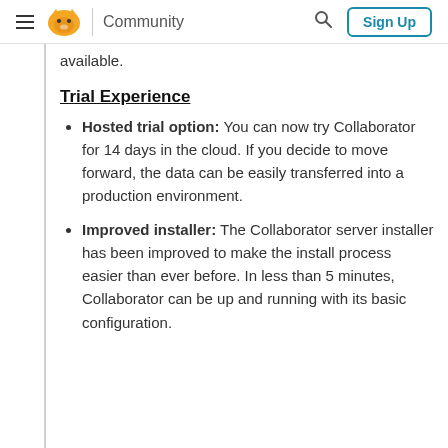Community  Sign Up
available.
Trial Experience
Hosted trial option: You can now try Collaborator for 14 days in the cloud. If you decide to move forward, the data can be easily transferred into a production environment.
Improved installer: The Collaborator server installer has been improved to make the install process easier than ever before. In less than 5 minutes, Collaborator can be up and running with its basic configuration.